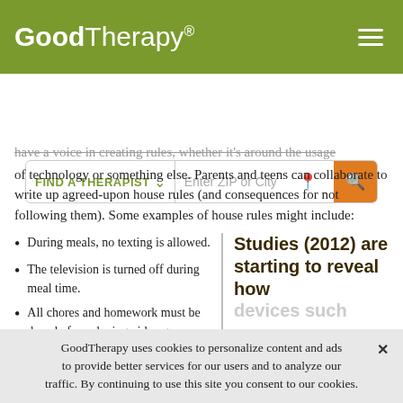GoodTherapy® [hamburger menu]
[Figure (screenshot): GoodTherapy website search bar with 'FIND A THERAPIST' dropdown and 'Enter ZIP or City' input with location pin and orange search button]
have a voice in creating rules, whether it's around the usage of technology or something else. Parents and teens can collaborate to write up agreed-upon house rules (and consequences for not following them). Some examples of house rules might include:
During meals, no texting is allowed.
The television is turned off during meal time.
All chores and homework must be done before playing video games,
Studies (2012) are starting to reveal how devices such
GoodTherapy uses cookies to personalize content and ads to provide better services for our users and to analyze our traffic. By continuing to use this site you consent to our cookies. ✕